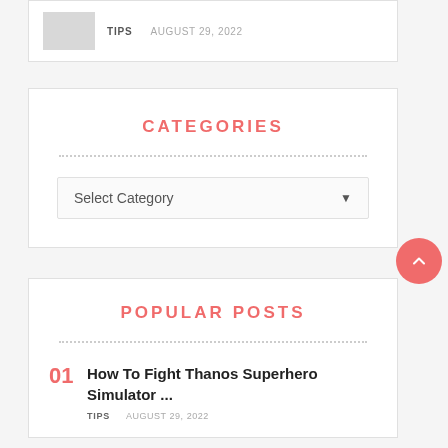TIPS   AUGUST 29, 2022
CATEGORIES
Select Category
POPULAR POSTS
01  How To Fight Thanos Superhero Simulator ...  TIPS  AUGUST 29, 2022